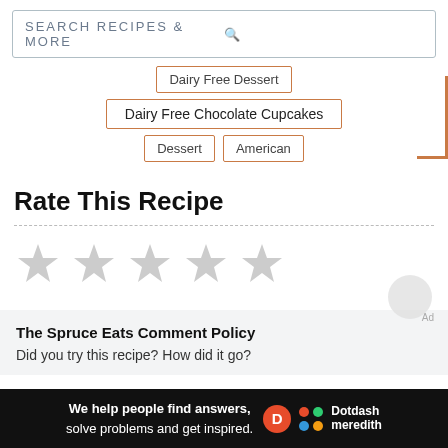[Figure (screenshot): Search bar with text SEARCH RECIPES & MORE and a magnifying glass icon]
Dairy Free Dessert
Dairy Free Chocolate Cupcakes
Dessert
American
Rate This Recipe
[Figure (other): Five empty grey star rating icons]
The Spruce Eats Comment Policy
Did you try this recipe? How did it go?
[Figure (infographic): Dotdash Meredith ad banner: We help people find answers, solve problems and get inspired.]